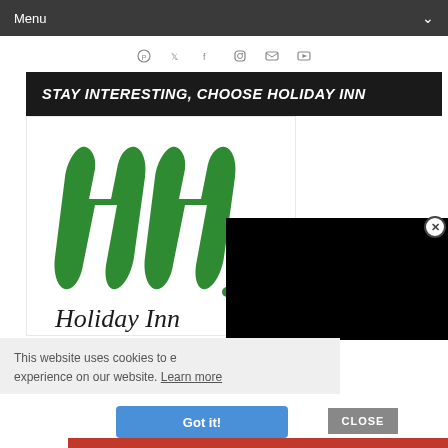Menu
[Figure (screenshot): Social media icons row: Pinterest, Twitter, Facebook, Instagram, Email, YouTube]
STAY INTERESTING, CHOOSE HOLIDAY INN
[Figure (logo): Holiday Inn green stylized H logo]
[Figure (screenshot): Black video overlay panel]
This website uses cookies to e... experience on our website. Learn more
Got it!
CLOSE
[Figure (photo): Macy's advertisement: KISS BORING LIPS GOODBYE with woman's photo and SHOP NOW button]